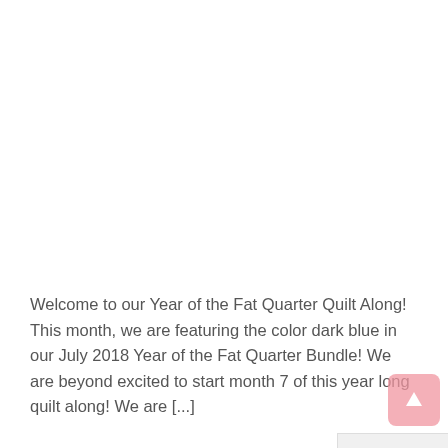Welcome to our Year of the Fat Quarter Quilt Along! This month, we are featuring the color dark blue in our July 2018 Year of the Fat Quarter Bundle! We are beyond excited to start month 7 of this year long quilt along! We are [...]